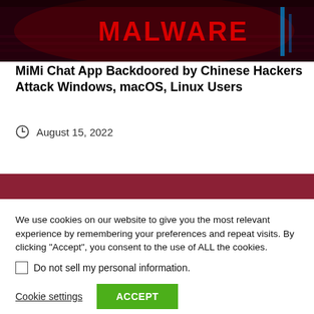[Figure (photo): Dark red/black themed image with text 'MALWARE' displayed in red on what appears to be a keyboard background with blue accents]
MiMi Chat App Backdoored by Chinese Hackers Attack Windows, macOS, Linux Users
August 15, 2022
We use cookies on our website to give you the most relevant experience by remembering your preferences and repeat visits. By clicking “Accept”, you consent to the use of ALL the cookies.
Do not sell my personal information.
Cookie settings
ACCEPT